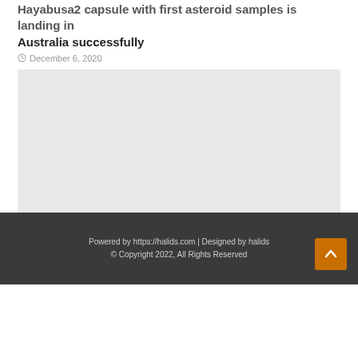Hayabusa2 capsule with first asteroid samples is landing in Australia successfully
December 6, 2020
[Figure (photo): Gray placeholder image for article about Hayabusa2 capsule]
The lack of PS5 and Xbox Series X stock has killed the console war
December 6, 2020
Powered by https://halids.com | Designed by halids © Copyright 2022, All Rights Reserved